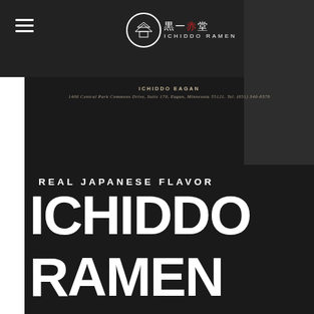[Figure (logo): Ichiddo Ramen logo with circular emblem, kanji characters and ICHIDDO RAMEN text in white and red on dark background]
ICHIDDO EAGAN
1400 Central Park Commons Drive, Suite 170, Eagan, Minnesota 55121. Tel. (651) 340-8378
REAL JAPANESE FLAVOR
ICHIDDO RAMEN